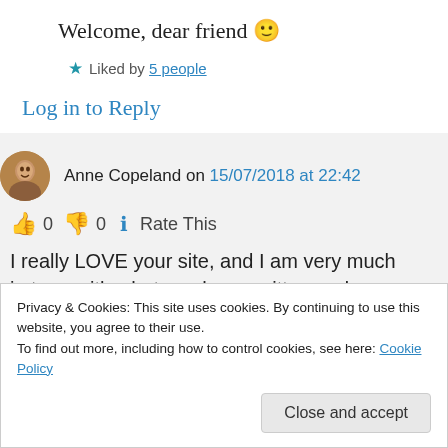Welcome, dear friend 🙂
★ Liked by 5 people
Log in to Reply
Anne Copeland on 15/07/2018 at 22:42
👍 0 👎 0 ℹ Rate This
I really LOVE your site, and I am very much in tune with what you have written and
Privacy & Cookies: This site uses cookies. By continuing to use this website, you agree to their use.
To find out more, including how to control cookies, see here: Cookie Policy
Close and accept